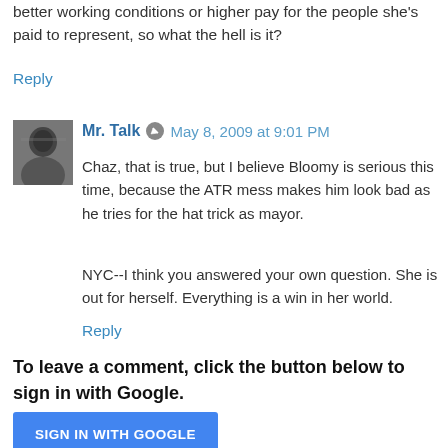better working conditions or higher pay for the people she's paid to represent, so what the hell is it?
Reply
Mr. Talk  May 8, 2009 at 9:01 PM
Chaz, that is true, but I believe Bloomy is serious this time, because the ATR mess makes him look bad as he tries for the hat trick as mayor.
NYC--I think you answered your own question. She is out for herself. Everything is a win in her world.
Reply
To leave a comment, click the button below to sign in with Google.
SIGN IN WITH GOOGLE